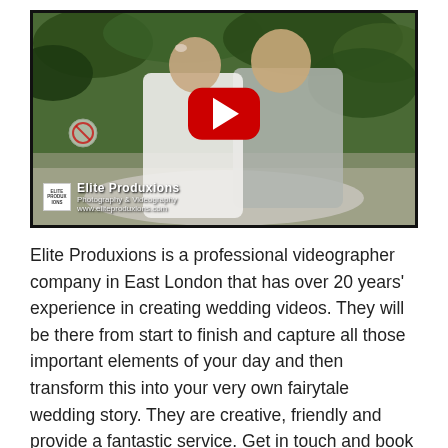[Figure (screenshot): A YouTube video thumbnail showing a bride and groom embracing outdoors, with a red YouTube play button in the center and an Elite Produxions watermark in the lower left corner.]
Elite Produxions is a professional videographer company in East London that has over 20 years' experience in creating wedding videos. They will be there from start to finish and capture all those important elements of your day and then transform this into your very own fairytale wedding story. They are creative, friendly and provide a fantastic service. Get in touch and book your wedding video with this wonderful company.